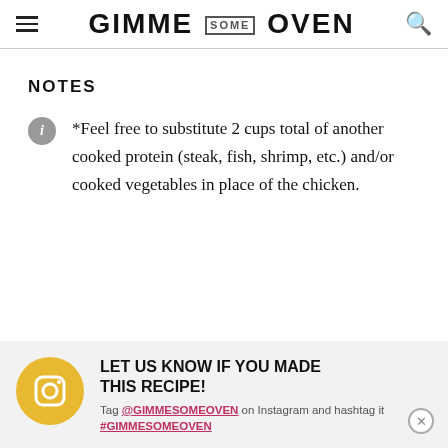GIMME SOME OVEN
NOTES
*Feel free to substitute 2 cups total of another cooked protein (steak, fish, shrimp, etc.) and/or cooked vegetables in place of the chicken.
LET US KNOW IF YOU MADE THIS RECIPE! Tag @GIMMESOMEOVEN on Instagram and hashtag it #GIMMESOMEOVEN